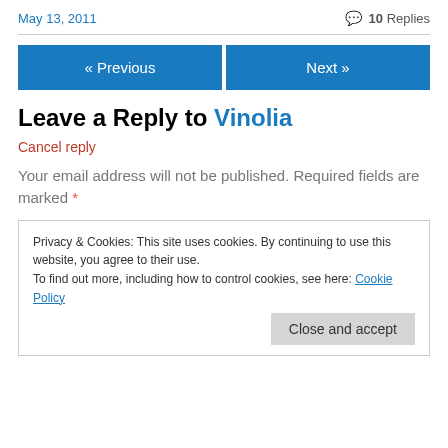May 13, 2011
💬 10 Replies
« Previous
Next »
Leave a Reply to Vinolia
Cancel reply
Your email address will not be published. Required fields are marked *
Privacy & Cookies: This site uses cookies. By continuing to use this website, you agree to their use. To find out more, including how to control cookies, see here: Cookie Policy
Close and accept